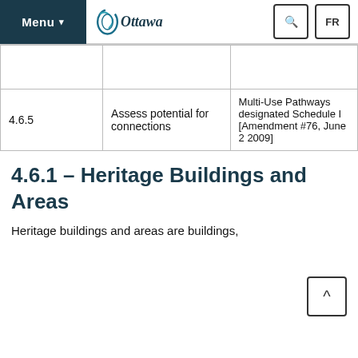Menu | Ottawa | Search | FR
|  |  |  |
| --- | --- | --- |
|  |  |  |
| 4.6.5 | Assess potential for connections | Multi-Use Pathways designated Schedule I [Amendment #76, June 2 2009] |
4.6.1 – Heritage Buildings and Areas
Heritage buildings and areas are buildings,